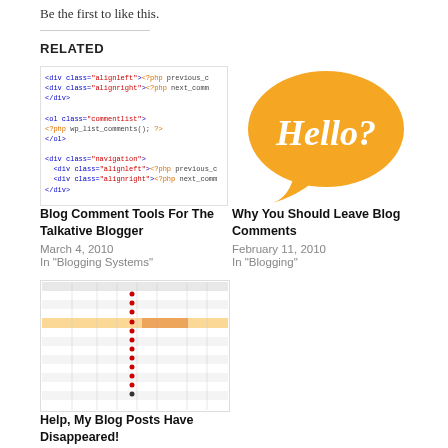Be the first to like this.
RELATED
[Figure (screenshot): Code snippet showing PHP WordPress comment template HTML with div alignleft, div alignright, ol commentlist, wp_list_comments(), and navigation divs]
Blog Comment Tools For The Talkative Blogger
March 4, 2010
In "Blogging Systems"
[Figure (illustration): Orange speech bubble with italic white text saying Hello?]
Why You Should Leave Blog Comments
February 11, 2010
In "Blogging"
[Figure (screenshot): Spreadsheet table with multiple rows of data, one highlighted row in orange, and small red status dots in a column]
Help, My Blog Posts Have Disappeared!
April 21, 2009
In "WordPress tips"